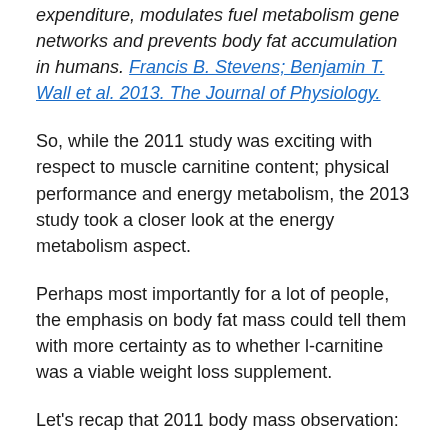expenditure, modulates fuel metabolism gene networks and prevents body fat accumulation in humans. Francis B. Stevens; Benjamin T. Wall et al. 2013. The Journal of Physiology.
So, while the 2011 study was exciting with respect to muscle carnitine content; physical performance and energy metabolism, the 2013 study took a closer look at the energy metabolism aspect.
Perhaps most importantly for a lot of people, the emphasis on body fat mass could tell them with more certainty as to whether l-carnitine was a viable weight loss supplement.
Let's recap that 2011 body mass observation: